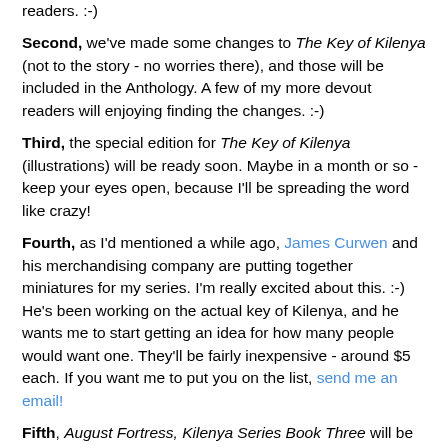readers. :-)
Second, we've made some changes to The Key of Kilenya (not to the story - no worries there), and those will be included in the Anthology. A few of my more devout readers will enjoying finding the changes. :-)
Third, the special edition for The Key of Kilenya (illustrations) will be ready soon. Maybe in a month or so - keep your eyes open, because I'll be spreading the word like crazy!
Fourth, as I'd mentioned a while ago, James Curwen and his merchandising company are putting together miniatures for my series. I'm really excited about this. :-) He's been working on the actual key of Kilenya, and he wants me to start getting an idea for how many people would want one. They'll be fairly inexpensive - around $5 each. If you want me to put you on the list, send me an email!
Fifth, August Fortress, Kilenya Series Book Three will be available soon! By soon, I mean within a few weeks. It's hard to know the exact date, but like the KofK special edition...!!!